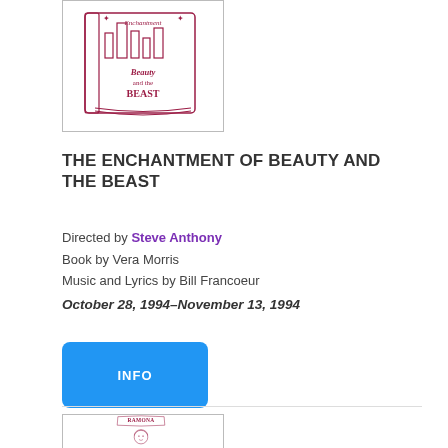[Figure (illustration): Hand-drawn illustration of a book with 'Enchantment Beauty and the Beast' text in crimson/maroon ink style]
THE ENCHANTMENT OF BEAUTY AND THE BEAST
Directed by Steve Anthony
Book by Vera Morris
Music and Lyrics by Bill Francoeur
October 28, 1994–November 13, 1994
INFO
[Figure (illustration): Hand-drawn illustration with 'RAMONA' text in crimson/maroon ink style, partially visible at bottom of page]